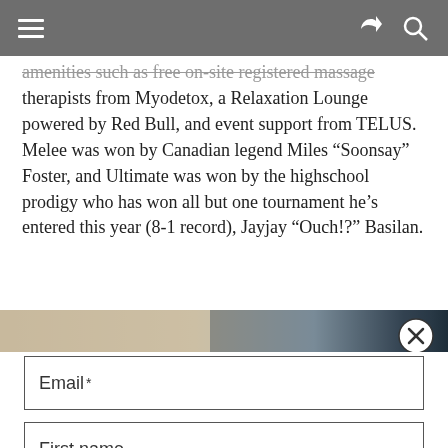Navigation header bar with hamburger menu, share, and search icons
amenities such as free on-site registered massage therapists from Myodetox, a Relaxation Lounge powered by Red Bull, and event support from TELUS. Melee was won by Canadian legend Miles “Soonsay” Foster, and Ultimate was won by the highschool prodigy who has won all but one tournament he’s entered this year (8-1 record), Jayjay “Ouch!?” Basilan.
[Figure (photo): Partial image strip showing blurred photo of people at an event]
Email *
First name
Last name